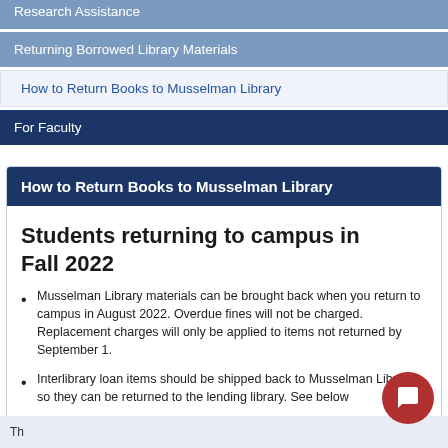Research Assistance
Returning Borrowed Library Materials
How to Return Books to Musselman Library
For Faculty
How to Return Books to Musselman Library
Students returning to campus in Fall 2022
Musselman Library materials can be brought back when you return to campus in August 2022.  Overdue fines will not be charged.  Replacement charges will only be applied to items not returned by September 1.
Interlibrary loan items should be shipped back to Musselman Library so they can be returned to the lending library.  See below for shipping instructions.